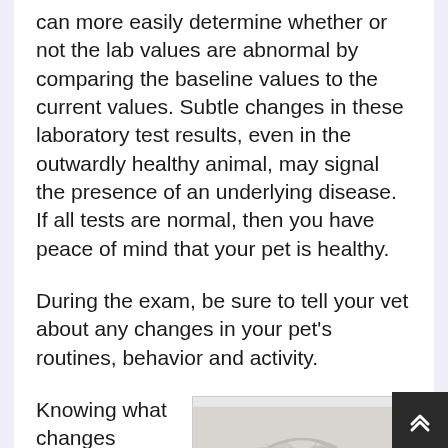can more easily determine whether or not the lab values are abnormal by comparing the baseline values to the current values. Subtle changes in these laboratory test results, even in the outwardly healthy animal, may signal the presence of an underlying disease. If all tests are normal, then you have peace of mind that your pet is healthy.
During the exam, be sure to tell your vet about any changes in your pet's routines, behavior and activity.
Knowing what changes
[Figure (photo): Photo of a fluffy dog (appears to be a Shih Tzu or similar breed) looking upward at the camera, partially visible at the bottom right of the page.]